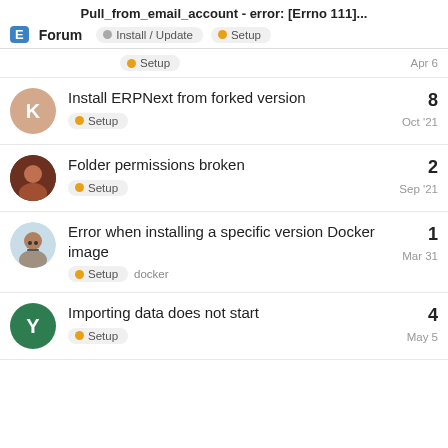Pull_from_email_account - error: [Errno 111]...
Forum   Install / Update   Setup
Setup   Apr 6
Install ERPNext from forked version   8   Setup   Oct '21
Folder permissions broken   2   Setup   Sep '21
Error when installing a specific version Docker image   1   Setup   docker   Mar 31
Importing data does not start   4   Setup   May 5